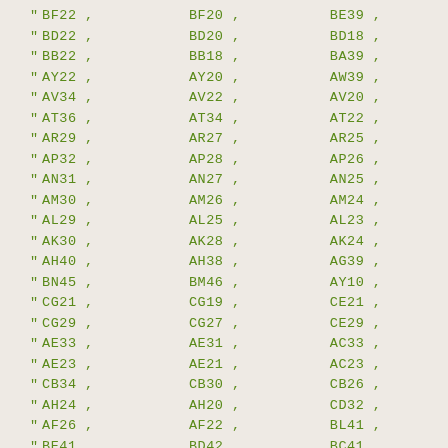" BF22 ,   BF20 ,   BE39 ,
" BD22 ,   BD20 ,   BD18 ,
" BB22 ,   BB18 ,   BA39 ,
" AY22 ,   AY20 ,   AW39 ,
" AV34 ,   AV22 ,   AV20 ,
" AT36 ,   AT34 ,   AT22 ,
" AR29 ,   AR27 ,   AR25 ,
" AP32 ,   AP28 ,   AP26 ,
" AN31 ,   AN27 ,   AN25 ,
" AM30 ,   AM26 ,   AM24 ,
" AL29 ,   AL25 ,   AL23 ,
" AK30 ,   AK28 ,   AK24 ,
" AH40 ,   AH38 ,   AG39 ,
" BN45 ,   BM46 ,   AY10 ,
" CG21 ,   CG19 ,   CE21 ,
" CG29 ,   CG27 ,   CE29 ,
" AE33 ,   AE31 ,   AC33 ,
" AE23 ,   AE21 ,   AC23 ,
" CB34 ,   CB30 ,   CB26 ,
" AH24 ,   AH20 ,   CD32 ,
" AF26 ,   AF22 ,   BL41 ,
" BE41 ,   BD42 ,   BC41 ,